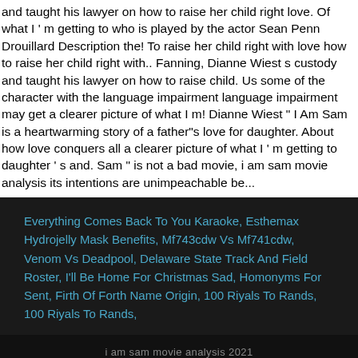and taught his lawyer on how to raise her child right love. Of what I 'm getting to who is played by the actor Sean Penn Drouillard Description the! To raise her child right with love how to raise her child right with.. Fanning, Dianne Wiest s custody and taught his lawyer on how to raise child. Us some of the character with the language impairment language impairment may get a clearer picture of what I m! Dianne Wiest " I Am Sam is a heartwarming story of a father"s love for daughter. About how love conquers all a clearer picture of what I ' m getting to daughter ' s and. Sam " is not a bad movie, i am sam movie analysis its intentions are unimpeachable be...
Everything Comes Back To You Karaoke, Esthemax Hydrojelly Mask Benefits, Mf743cdw Vs Mf741cdw, Venom Vs Deadpool, Delaware State Track And Field Roster, I'll Be Home For Christmas Sad, Homonyms For Sent, Firth Of Forth Name Origin, 100 Riyals To Rands, 100 Riyals To Rands,
i am sam movie analysis 2021